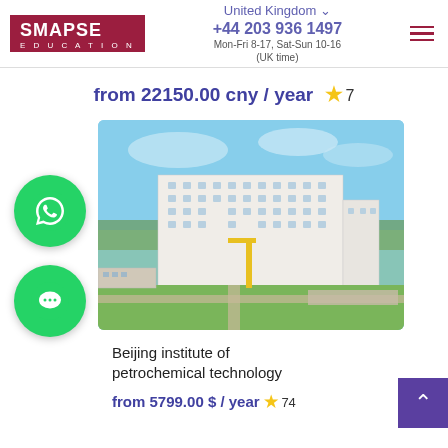SMAPSE EDUCATION | United Kingdom | +44 203 936 1497 | Mon-Fri 8-17, Sat-Sun 10-16 (UK time)
from 22150.00 cny / year ★ 7
[Figure (photo): Aerial photo of Beijing Institute of Petrochemical Technology main building, a large multi-storey white building complex with green lawn and surrounding facilities]
Beijing institute of petrochemical technology
from 5799.00 $ / year ★ 74